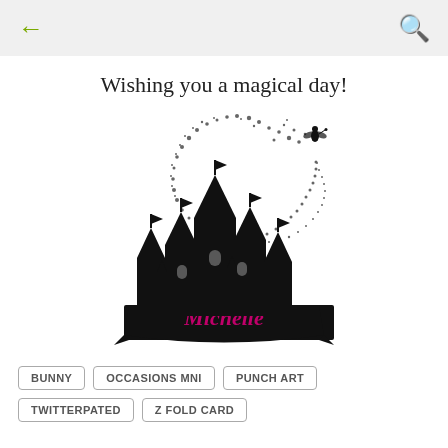← (back arrow)   🔍 (search icon)
Wishing you a magical day!
[Figure (illustration): Black silhouette of a fairy-tale castle with spires and flags. A fairy figure flies above trailing a swirl of sparkle dust. A banner at the base reads 'Michelle' in pink cursive script.]
BUNNY
OCCASIONS MNI
PUNCH ART
TWITTERPATED
Z FOLD CARD